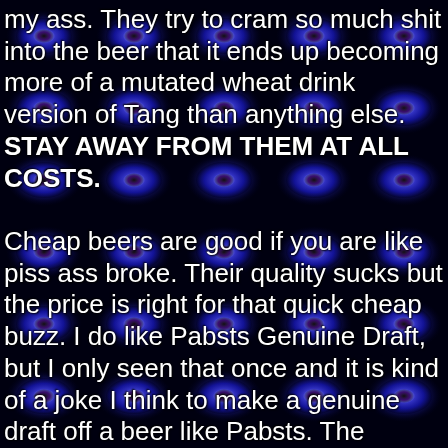[Figure (illustration): Dark black background with repeating pattern of glowing blue oval/eye-shaped orbs arranged in a grid, creating a psychedelic or fractal-like tiled pattern.]
my ass. They try to cram so much shit into the beer that it ends up becoming more of a mutated wheat drink version of Tang than anything else. STAY AWAY FROM THEM AT ALL COSTS.

Cheap beers are good if you are like piss ass broke. Their quality sucks but the price is right for that quick cheap buzz. I do like Pabsts Genuine Draft, but I only seen that once and it is kind of a joke I think to make a genuine draft off a beer like Pabsts. The definitive word on beer has been spoken. Now onto some other alchoholic beverages.
Here is a picture of my cousin all hopped up on Goofballs and Beer!!!